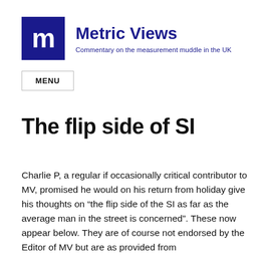Metric Views — Commentary on the measurement muddle in the UK
The flip side of SI
Charlie P, a regular if occasionally critical contributor to MV, promised he would on his return from holiday give his thoughts on “the flip side of the SI as far as the average man in the street is concerned”. These now appear below. They are of course not endorsed by the Editor of MV but are as provided from